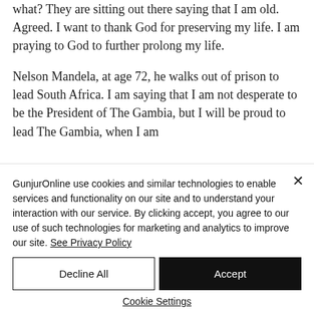what? They are sitting out there saying that I am old. Agreed. I want to thank God for preserving my life. I am praying to God to further prolong my life.
Nelson Mandela, at age 72, he walks out of prison to lead South Africa. I am saying that I am not desperate to be the President of The Gambia, but I will be proud to lead The Gambia, when I am
GunjurOnline use cookies and similar technologies to enable services and functionality on our site and to understand your interaction with our service. By clicking accept, you agree to our use of such technologies for marketing and analytics to improve our site. See Privacy Policy
Decline All
Accept
Cookie Settings